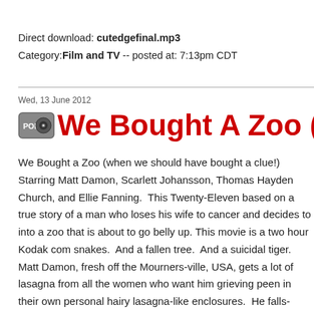Direct download: cutedgefinal.mp3
Category:Film and TV -- posted at: 7:13pm CDT
Wed, 13 June 2012
We Bought A Zoo (2011)
We Bought a Zoo (when we should have bought a clue!) Starring Matt Damon, Scarlett Johansson, Thomas Hayden Church, and Ellie Fanning.  This Twenty-Eleven film is based on a true story of a man who loses his wife to cancer and decides to move his family into a zoo that is about to go belly up. This movie is a two hour Kodak commercial with snakes.  And a fallen tree.  And a suicidal tiger.  Matt Damon, fresh off the plane from Mourners-ville, USA, gets a lot of lasagna from all the women who want him to put his grieving peen in their own personal hairy lasagna-like enclosures.  He falls for the only woman who has no noodle casserole up for offer, Scarlett Johansson, a surly animal caretaker who spends most of her spare time wearing a hoodie and glaring at things in the pouring rain. Thomas Hayden Church plays Matt's brother and he takes his coffee and heaps of brotherly disapproval.  Ellie Fanning plays a mysterious child who immediately falls for Matt Damon's emo son, whole way into...